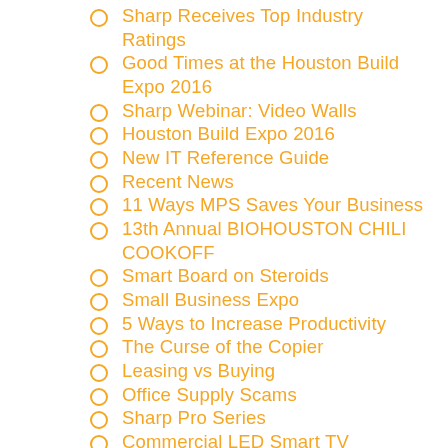Sharp Receives Top Industry Ratings
Good Times at the Houston Build Expo 2016
Sharp Webinar: Video Walls
Houston Build Expo 2016
New IT Reference Guide
Recent News
11 Ways MPS Saves Your Business
13th Annual BIOHOUSTON CHILI COOKOFF
Smart Board on Steroids
Small Business Expo
5 Ways to Increase Productivity
The Curse of the Copier
Leasing vs Buying
Office Supply Scams
Sharp Pro Series
Commercial LED Smart TV